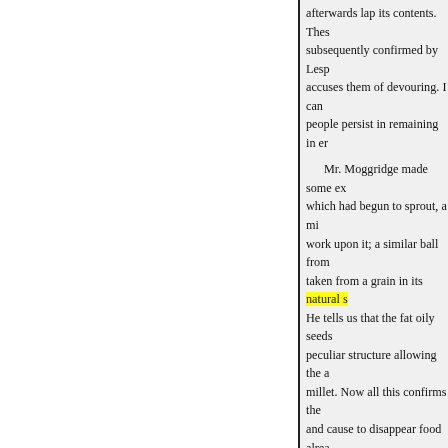afterwards lap its contents. These subsequently confirmed by Lesp accuses them of devouring. I can people persist in remaining in er

Mr. Moggridge made some ex which had begun to sprout, a mi work upon it; a similar ball from taken from a grain in its natural s He tells us that the fat oily seeds peculiar structure allowing the a millet. Now all this confirms the and cause to disappear food alrea occasionally convey into their ne consistency, and are available fo has always for a motive, on the p to this very species, Atta (aphan little round stones, and small she And here, again, a remarkable fa other than round and intact seeds power over them which checks t really a fact, is most extraordinar